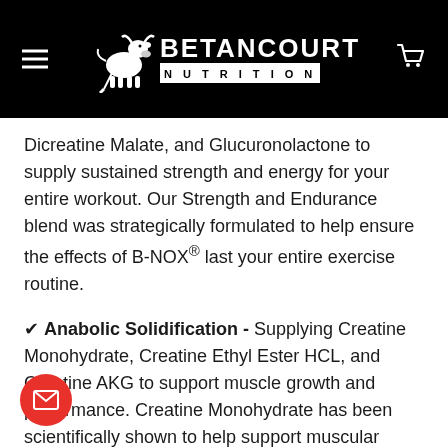BETANCOURT NUTRITION
Dicreatine Malate, and Glucuronolactone to supply sustained strength and energy for your entire workout. Our Strength and Endurance blend was strategically formulated to help ensure the effects of B-NOX® last your entire exercise routine.
✔ Anabolic Solidification - Supplying Creatine Monohydrate, Creatine Ethyl Ester HCL, and Creatine AKG to support muscle growth and performance. Creatine Monohydrate has been scientifically shown to help support muscular endurance, size, strength, and cognitive function. Creatine Ethyl Ester HCL provides similar benefits to Monohydrate but has been shown to